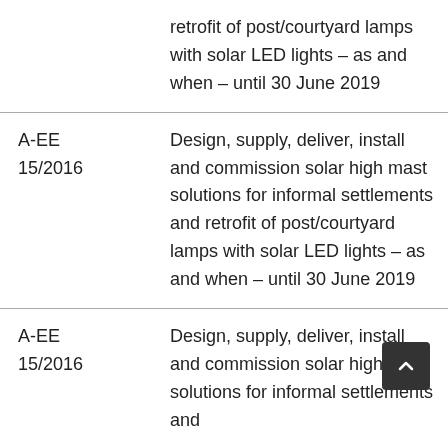| Reference | Description |
| --- | --- |
|  | retrofit of post/courtyard lamps with solar LED lights – as and when – until 30 June 2019 |
| A-EE 15/2016 | Design, supply, deliver, install and commission solar high mast solutions for informal settlements and retrofit of post/courtyard lamps with solar LED lights – as and when – until 30 June 2019 |
| A-EE 15/2016 | Design, supply, deliver, install and commission solar high mast solutions for informal settlements and |